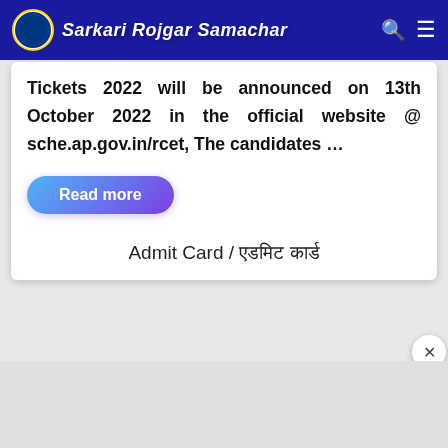Sarkari Rojgar Samachar
Tickets 2022 will be announced on 13th October 2022 in the official website @ sche.ap.gov.in/rcet, The candidates …
Read more
Admit Card / एडमिट कार्ड